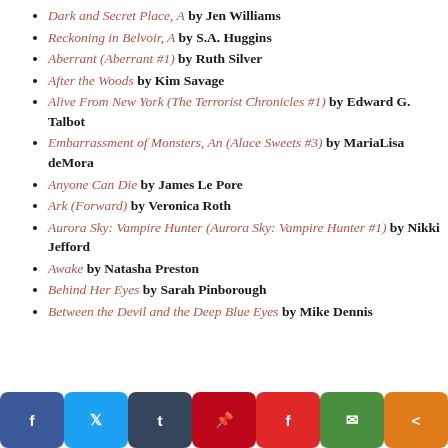Dark and Secret Place, A by Jen Williams
Reckoning in Belvoir, A by S.A. Huggins
Aberrant (Aberrant #1) by Ruth Silver
After the Woods by Kim Savage
Alive From New York (The Terrorist Chronicles #1) by Edward G. Talbot
Embarrassment of Monsters, An (Alace Sweets #3) by MariaLisa deMora
Anyone Can Die by James Le Pore
Ark (Forward) by Veronica Roth
Aurora Sky: Vampire Hunter (Aurora Sky: Vampire Hunter #1) by Nikki Jefford
Awake by Natasha Preston
Behind Her Eyes by Sarah Pinborough
Between the Devil and the Deep Blue Eyes by Mike Dennis